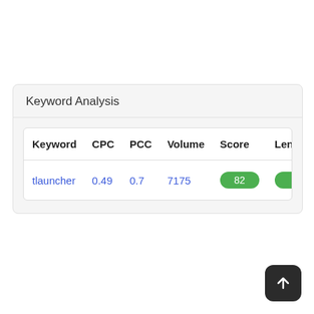Keyword Analysis
| Keyword | CPC | PCC | Volume | Score | Length of key |
| --- | --- | --- | --- | --- | --- |
| tlauncher | 0.49 | 0.7 | 7175 | 82 | 9 |